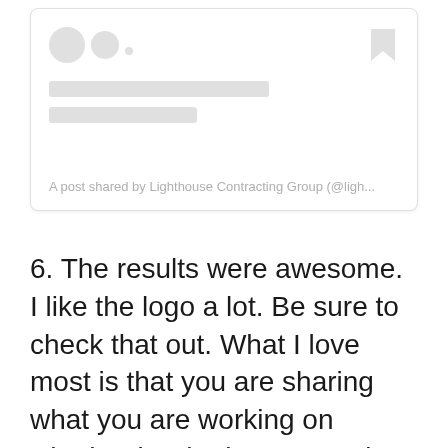[Figure (screenshot): Social media post card placeholder with skeleton loading icons and bars, with caption 'A post shared by Lighthouse Contracting Group (@ligh...']
A post shared by Lighthouse Contracting Group (@ligh...
6. The results were awesome. I like the logo a lot. Be sure to check that out. What I love most is that you are sharing what you are working on whether it's the logo or out in the field. You are